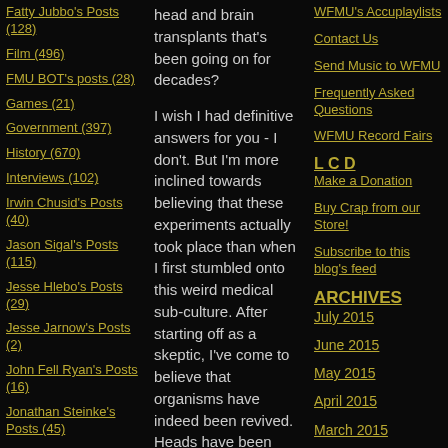Fatty Jubbo's Posts (128)
Film (496)
FMU BOT's posts (28)
Games (21)
Government (397)
History (670)
Interviews (102)
Irwin Chusid's Posts (40)
Jason Sigal's Posts (115)
Jesse Hlebo's Posts (29)
Jesse Jarnow's Posts (2)
John Fell Ryan's Posts (16)
Jonathan Steinke's Posts (45)
Listener Bob Purse's Posts (198)
Listener Fodder's Posts (14)
Listener Crog's Posts
head and brain transplants that's been going on for decades? I wish I had definitive answers for you - I don't. But I'm more inclined towards believing that these experiments actually took place than when I first stumbled onto this weird medical sub-culture. After starting off as a skeptic, I've come to believe that organisms have indeed been revived. Heads have been lopped
WFMU's Accuplaylists
Contact Us
Send Music to WFMU
Frequently Asked Questions
WFMU Record Fairs
L C D
Make a Donation
Buy Crap from our Store!
Subscribe to this blog's feed
ARCHIVES
July 2015
June 2015
May 2015
April 2015
March 2015